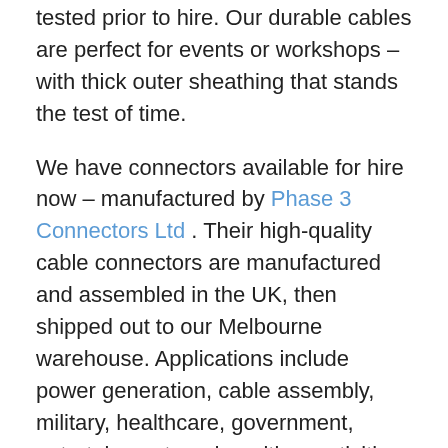tested prior to hire. Our durable cables are perfect for events or workshops – with thick outer sheathing that stands the test of time.
We have connectors available for hire now – manufactured by Phase 3 Connectors Ltd . Their high-quality cable connectors are manufactured and assembled in the UK, then shipped out to our Melbourne warehouse. Applications include power generation, cable assembly, military, healthcare, government, entertainment, and maritime activities. With a company focus on safe power distribution equipment, you can be sure that when you hire with us, you'll have access to the safest power leads and connectors on the market.
Our 3 phase leads are made out of temperature resistant materials, and are weather, dust and water